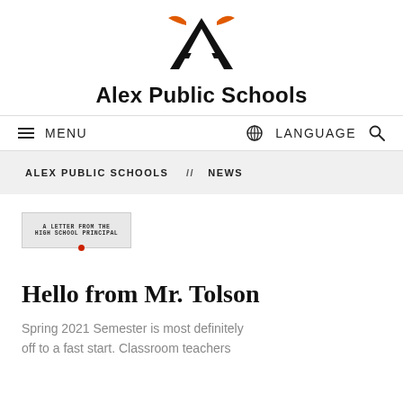[Figure (logo): Alex Public Schools logo: stylized letter A in black with orange longhorn horns on top]
Alex Public Schools
MENU   LANGUAGE
ALEX PUBLIC SCHOOLS // NEWS
[Figure (other): Small tag image reading A LETTER FROM THE HIGH SCHOOL PRINCIPAL with a red dot]
Hello from Mr. Tolson
Spring 2021 Semester is most definitely off to a fast start. Classroom teachers